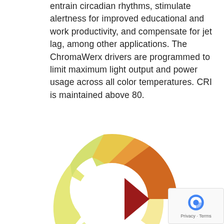entrain circadian rhythms, stimulate alertness for improved educational and work productivity, and compensate for jet lag, among other applications. The ChromaWerx drivers are programmed to limit maximum light output and power usage across all color temperatures. CRI is maintained above 80.
[Figure (logo): ChromaWerx SOLA logo — a donut/arc shape made of colored segments (light yellow, yellow-green, warm yellow, orange, dark orange) with a gap at right-center and a dark red triangular arrow pointing left in the center gap. Below the arc is the word SOLA in bold black.]